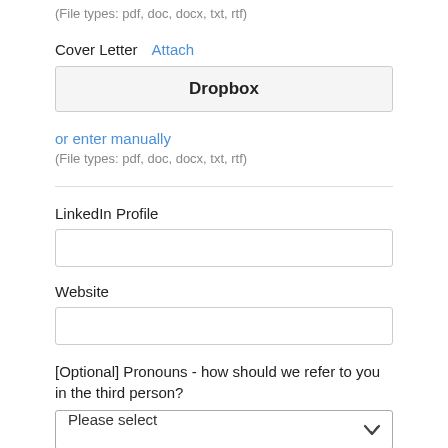(File types: pdf, doc, docx, txt, rtf)
Cover Letter  Attach
Dropbox
or enter manually
(File types: pdf, doc, docx, txt, rtf)
LinkedIn Profile
Website
[Optional] Pronouns - how should we refer to you in the third person?
Please select
[Optional, if "other" is selected above] My pronouns are